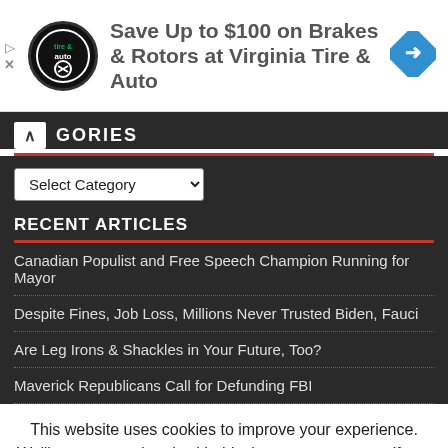[Figure (advertisement): Virginia Tire & Auto advertisement banner with circular logo and navigation arrow icon, text: Save Up to $100 on Brakes & Rotors at Virginia Tire & Auto]
GORIES
Select Category
RECENT ARTICLES
Canadian Populist and Free Speech Champion Running for Mayor
Despite Fines, Job Loss, Millions Never Trusted Biden, Fauci
Are Leg Irons & Shackles in Your Future, Too?
Maverick Republicans Call for Defunding FBI
This website uses cookies to improve your experience. We'll assume you're ok with this, but you can opt-out if you wish.
Accept   Read More